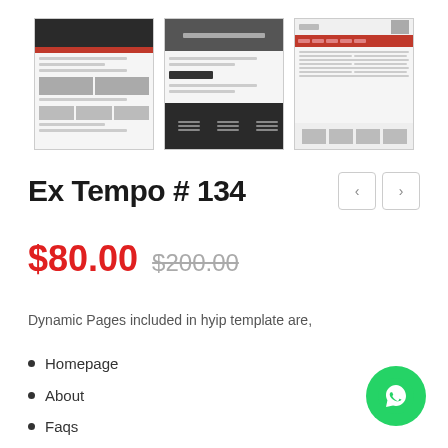[Figure (screenshot): Three website template thumbnail screenshots showing dark-themed and red-themed website designs for Ex Tempo #134]
Ex Tempo # 134
$80.00 $200.00
Dynamic Pages included in hyip template are,
Homepage
About
Faqs
Plans
Affiliato
[Figure (other): WhatsApp contact button (green circle with WhatsApp logo)]